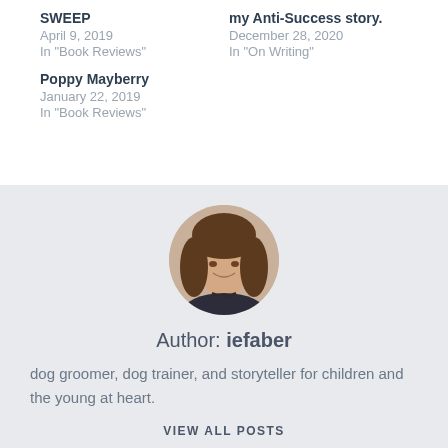SWEEP
April 9, 2019
In "Book Reviews"
my Anti-Success story.
December 28, 2020
In "On Writing"
Poppy Mayberry
January 22, 2019
In "Book Reviews"
[Figure (photo): Circular portrait photo of a woman with long brown hair and bangs, smiling.]
Author: iefaber
dog groomer, dog trainer, and storyteller for children and the young at heart.
VIEW ALL POSTS